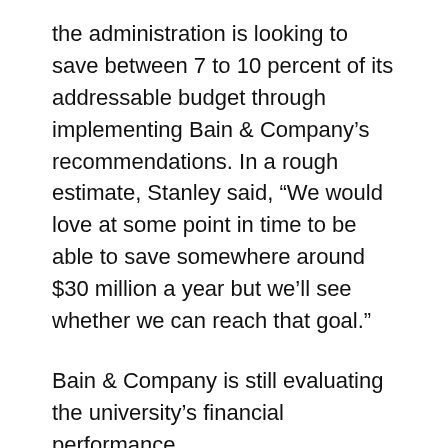the administration is looking to save between 7 to 10 percent of its addressable budget through implementing Bain & Company's recommendations. In a rough estimate, Stanley said, “We would love at some point in time to be able to save somewhere around $30 million a year but we’ll see whether we can reach that goal.”
Bain & Company is still evaluating the university’s financial performance.
Maciulaitis, the budget director, emphasized that the university is doing everything it can to spare academics, but that other entities could only be cut so much. “So we’re trying to cut the areas that deal with the students the least, the most,” said Maciulaitis. “That the areas of looking at it. But th